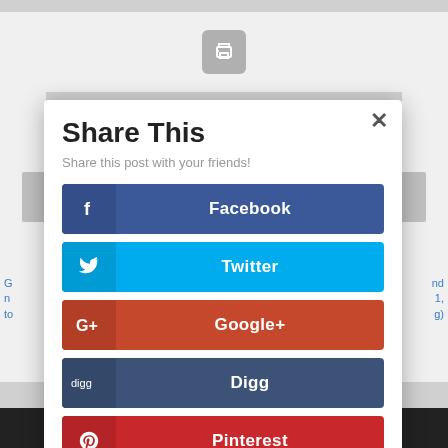[Figure (screenshot): Share This social media modal dialog overlay on a webpage. Contains buttons for Facebook, Twitter, Google+, Digg, Pinterest, and reddit sharing.]
Share This
Share this post with your friends!
Facebook
Twitter
Google+
Digg
Pinterest
reddit